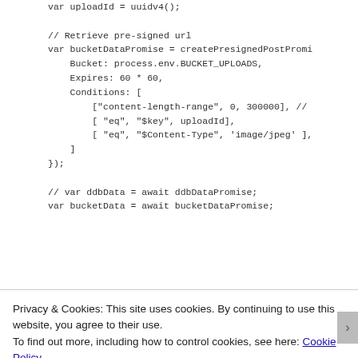var uploadId = uuidv4();

// Retrieve pre-signed url
var bucketDataPromise = createPresignedPostPromi
    Bucket: process.env.BUCKET_UPLOADS,
    Expires: 60 * 60,
    Conditions: [
        ["content-length-range", 0, 300000], //
        [ "eq", "$key", uploadId],
        [ "eq", "$Content-Type", 'image/jpeg' ],
    ]
});

// var ddbData = await ddbDataPromise;
var bucketData = await bucketDataPromise;
Privacy & Cookies: This site uses cookies. By continuing to use this website, you agree to their use.
To find out more, including how to control cookies, see here: Cookie Policy